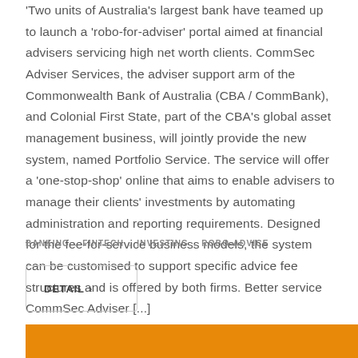Two units of Australia's largest bank have teamed up to launch a 'robo-for-adviser' portal aimed at financial advisers servicing high net worth clients. CommSec Adviser Services, the adviser support arm of the Commonwealth Bank of Australia (CBA / CommBank), and Colonial First State, part of the CBA's global asset management business, will jointly provide the new system, named Portfolio Service. The service will offer a 'one-stop-shop' online that aims to enable advisers to manage their clients' investments by automating administration and reporting requirements. Designed for the fee-for-service business models, the system can be customised to support specific advice fee structures and is offered by both firms. Better service CommSec Adviser [...]
BANKING . FINTECH . INVESTING . ROBO-ADVICE
DETAIL >
[Figure (photo): Orange/yellow background image visible at the bottom of the page]